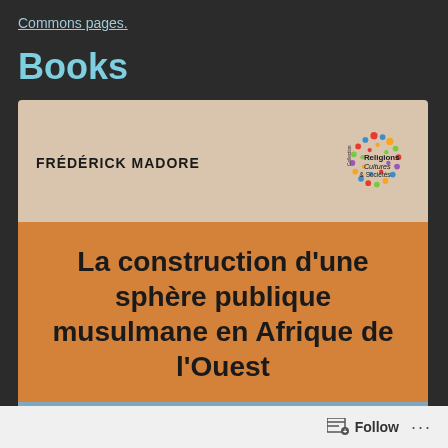Commons pages.
Books
[Figure (illustration): Book cover for 'La construction d'une sphère publique musulmane en Afrique de l'Ouest' by Frédérick Madore, published in the 'Religions Cultures & Sociétés' collection. Cover has a beige top section with author name and collection logo, an orange middle section with the title in bold black text, and a blue bottom band.]
Follow ...